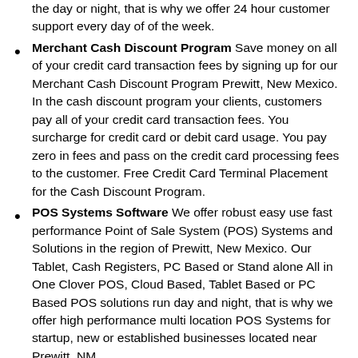the day or night, that is why we offer 24 hour customer support every day of of the week.
Merchant Cash Discount Program Save money on all of your credit card transaction fees by signing up for our Merchant Cash Discount Program Prewitt, New Mexico. In the cash discount program your clients, customers pay all of your credit card transaction fees. You surcharge for credit card or debit card usage. You pay zero in fees and pass on the credit card processing fees to the customer. Free Credit Card Terminal Placement for the Cash Discount Program.
POS Systems Software We offer robust easy use fast performance Point of Sale System (POS) Systems and Solutions in the region of Prewitt, New Mexico. Our Tablet, Cash Registers, PC Based or Stand alone All in One Clover POS, Cloud Based, Tablet Based or PC Based POS solutions run day and night, that is why we offer high performance multi location POS Systems for startup, new or established businesses located near Prewitt, NM.
Online Account Viewing Customers also enjoy having the ability to view their account transactions online from home or the office. It is important to have complete access to your sales and transaction records.
24 Hour Terminal Support Merchant Account based in New